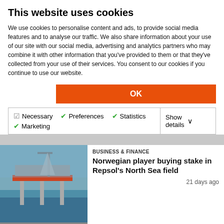This website uses cookies
We use cookies to personalise content and ads, to provide social media features and to analyse our traffic. We also share information about your use of our site with our social media, advertising and analytics partners who may combine it with other information that you've provided to them or that they've collected from your use of their services. You consent to our cookies if you continue to use our website.
OK
Necessary  Preferences  Statistics  Marketing  Show details
BUSINESS & FINANCE
Norwegian player buying stake in Repsol's North Sea field
21 days ago
[Figure (photo): Offshore oil drilling platform at sea]
EXPLORATION & PRODUCTION
Saipem rig wraps up drilling ops on Norwegian North Sea field ahead of
[Figure (photo): Saipem scarabeo 8 drilling rig with crane equipment, labeled 'scarabeo 8']